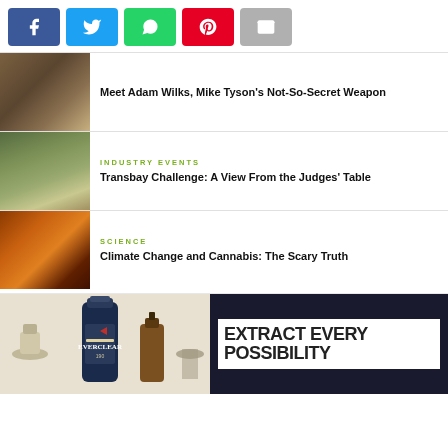[Figure (other): Social media share buttons: Facebook (blue), Twitter (light blue), WhatsApp (green), Pinterest (red), Email (gray)]
[Figure (photo): Man smoking/vaping, wearing sunglasses]
Meet Adam Wilks, Mike Tyson's Not-So-Secret Weapon
[Figure (photo): Cannabis plant or buds on wooden surface with greenery]
INDUSTRY EVENTS
Transbay Challenge: A View From the Judges' Table
[Figure (photo): Orange/red sky silhouette scene, possibly wildfire]
SCIENCE
Climate Change and Cannabis: The Scary Truth
[Figure (photo): Everclear 190 bottle advertisement with text EXTRACT EVERY POSSIBILITY]
EXTRACT EVERY POSSIBILITY